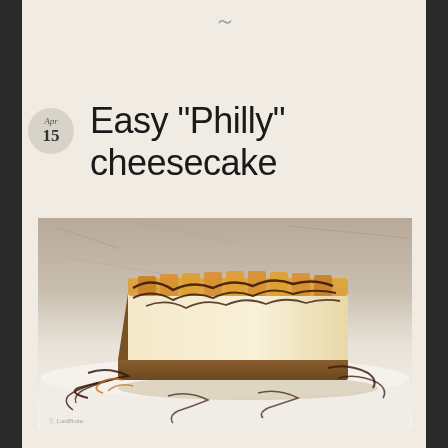Easy “Philly” cheesecake
Apr 15
[Figure (photo): A slice of cheesecake with caramel and chocolate drizzle on a white plate, photographed from above at an angle. The cheesecake has a graham cracker crust with cream cheese filling and decorative swirls of caramel and chocolate sauce.]